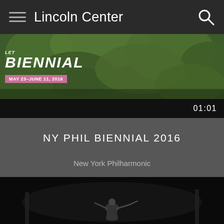Lincoln Center
[Figure (photo): Banner for NY Phil Biennial with text 'BIENNIAL MAY 23–JUNE 11, 2016' overlaid on a green foliage background]
01:01
NY PHIL BIENNIAL 2016
New York Philharmonic
[Figure (photo): Video screenshot of a conductor in a tuxedo performing on a dark stage]